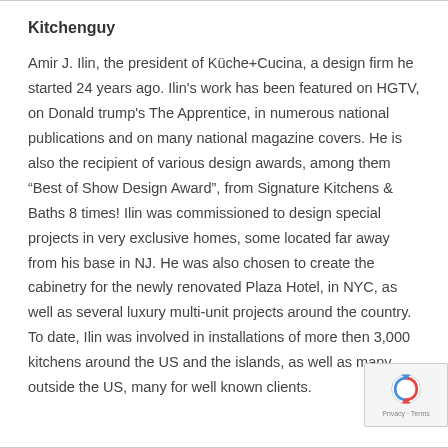Kitchenguy
Amir J. Ilin, the president of Küche+Cucina, a design firm he started 24 years ago. Ilin's work has been featured on HGTV, on Donald trump's The Apprentice, in numerous national publications and on many national magazine covers. He is also the recipient of various design awards, among them “Best of Show Design Award”, from Signature Kitchens & Baths 8 times! Ilin was commissioned to design special projects in very exclusive homes, some located far away from his base in NJ. He was also chosen to create the cabinetry for the newly renovated Plaza Hotel, in NYC, as well as several luxury multi-unit projects around the country. To date, Ilin was involved in installations of more then 3,000 kitchens around the US and the islands, as well as many outside the US, many for well known clients.
[Figure (logo): reCAPTCHA badge with circular arrow icon and Privacy/Terms text]